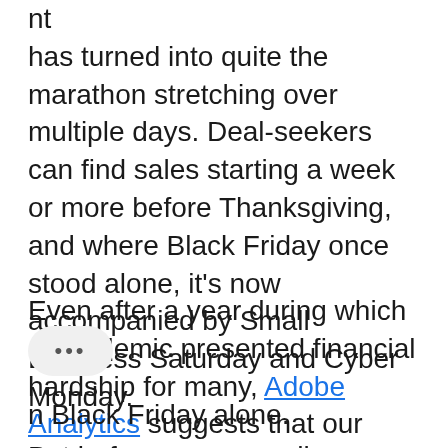nt has turned into quite the marathon stretching over multiple days. Deal-seekers can find sales starting a week or more before Thanksgiving, and where Black Friday once stood alone, it's now accompanied by Small Business Saturday and Cyber Monday.
Even after a year during which a pandemic presented financial hardship for many, Adobe Analytics suggests that our expenditures continue to reflect our enthusiasm for spending around the Thanksgiving holiday, with shoppers spending nearly $9M this n Black Friday alone.
But before your spending fatigue